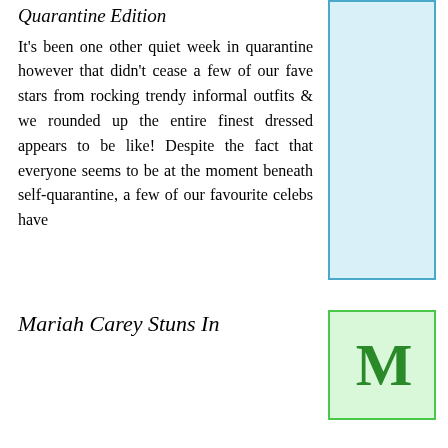Quarantine Edition
It’s been one other quiet week in quarantine however that didn’t cease a few of our fave stars from rocking trendy informal outfits & we rounded up the entire finest dressed appears to be like! Despite the fact that everyone seems to be at the moment beneath self-quarantine, a few of our favourite celebs have
[Figure (illustration): Light blue rectangle placeholder image on the right side]
Mariah Carey Stuns In
[Figure (logo): Light green rectangle with large dark green M letter logo]